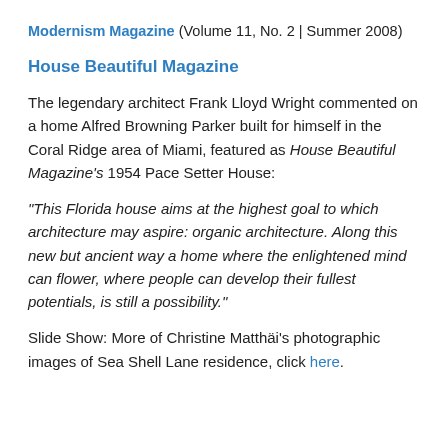Modernism Magazine (Volume 11, No. 2 | Summer 2008)
House Beautiful Magazine
The legendary architect Frank Lloyd Wright commented on a home Alfred Browning Parker built for himself in the Coral Ridge area of Miami, featured as House Beautiful Magazine’s 1954 Pace Setter House:
“This Florida house aims at the highest goal to which architecture may aspire: organic architecture. Along this new but ancient way a home where the enlightened mind can flower, where people can develop their fullest potentials, is still a possibility.”
Slide Show: More of Christine Matthäi’s photographic images of Sea Shell Lane residence, click here.